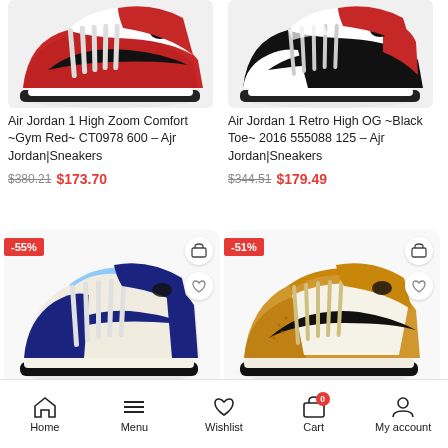[Figure (photo): Air Jordan 1 High Zoom Comfort in Gym Red colorway, top portion of shoe visible]
[Figure (photo): Air Jordan 1 Retro High OG Black Toe 2016 colorway, top portion of shoe visible]
Air Jordan 1 High Zoom Comfort ~Gym Red~ CT0978 600 – Ajr Jordan|Sneakers
$380.21 $173.70
Air Jordan 1 Retro High OG ~Black Toe~ 2016 555088 125 – Ajr Jordan|Sneakers
$344.51 $179.49
[Figure (photo): Air Jordan 1 Retro High OG in navy/blue/white colorway, full shoe visible, -55% discount badge]
[Figure (photo): Air Jordan 1 Retro High OG in wheat/tan/white colorway, full shoe visible, -51% discount badge]
Home  Menu  Wishlist  Cart  My account